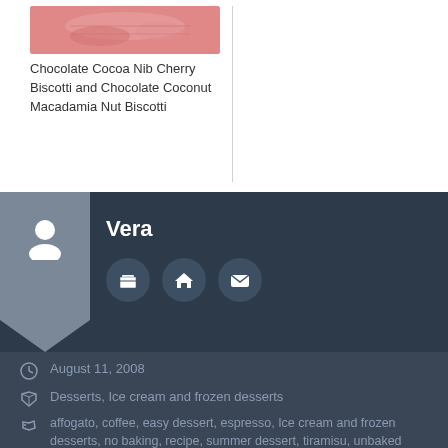[Figure (photo): Thumbnail photo of a pink/red biscotti dessert]
Chocolate Cocoa Nib Cherry Biscotti and Chocolate Coconut Macadamia Nut Biscotti
[Figure (infographic): Author profile section with avatar icon, name Vera, and three icon buttons (archive, home, mail)]
August 11, 2008
Desserts, Ice cream and frozen desserts
affogato, coffee, easy dessert, espresso, Ice cream and frozen desserts, no baking, recipe, summer dessert, tiramisu, unbaked